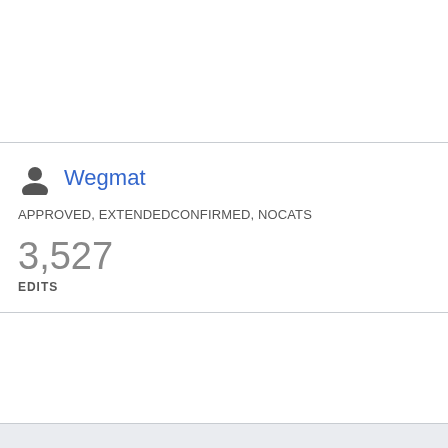Wegmat
APPROVED, EXTENDEDCONFIRMED, NOCATS
3,527
EDITS
MicroWiki
Privacy policy • Desktop